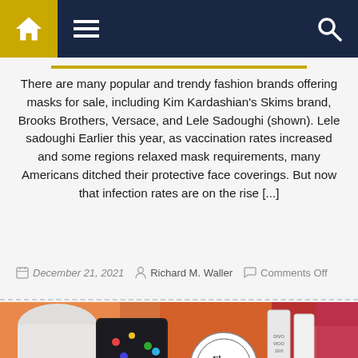Navigation bar with home, menu, and search icons
There are many popular and trendy fashion brands offering masks for sale, including Kim Kardashian’s Skims brand, Brooks Brothers, Versace, and Lele Sadoughi (shown). Lele sadoughi Earlier this year, as vaccination rates increased and some regions relaxed mask requirements, many Americans ditched their protective face coverings. But now that infection rates are on the rise [...]
December 21, 2021  Richard M. Waller  Comments Off
[Figure (photo): A colorful collage of fashion and beauty products including clothing and skincare items on a warm orange/red background]